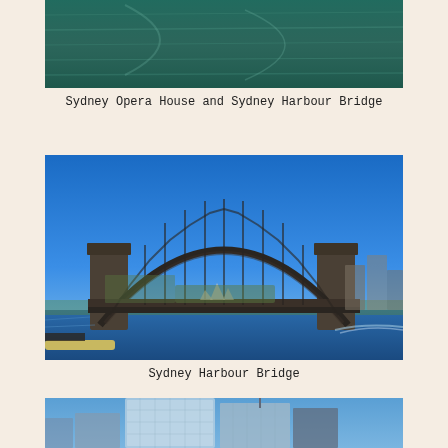[Figure (photo): Partial view of water/ocean, top portion of a photo showing Sydney Opera House and Sydney Harbour Bridge, only the water portion visible]
Sydney Opera House and Sydney Harbour Bridge
[Figure (photo): Sydney Harbour Bridge panoramic photo taken from a ferry, showing the full steel arch bridge against a clear blue sky, with water in the foreground and Sydney Opera House visible in the distance under the bridge]
Sydney Harbour Bridge
[Figure (photo): Partial view of Sydney waterfront buildings/skyline with high-rise buildings visible, photo cropped at bottom of page]